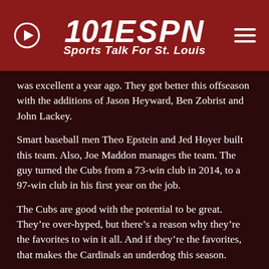101 ESPN Sports Talk For St. Louis
was excellent a year ago. They got better this offseason with the additions of Jason Heyward, Ben Zobrist and John Lackey.
Smart baseball men Theo Epstein and Jed Hoyer built this team. Also, Joe Maddon manages the team. The guy turned the Cubs from a 73-win club in 2014, to a 97-win club in his first year on the job.
The Cubs are good with the potential to be great. They're over-hyped, but there's a reason why they're the favorites to win it all. And if they're the favorites, that makes the Cardinals an underdog this season.
Some in the “BFIB” groan at the mere mention of the Cards as an underdog, especially to the Cubs, viewing